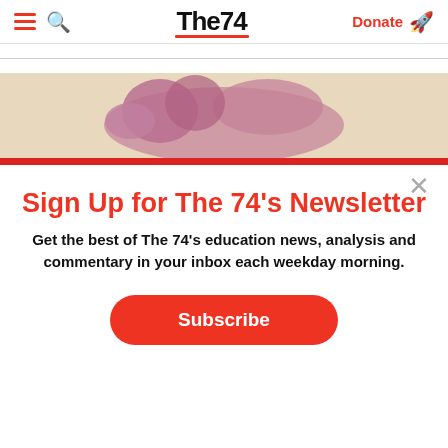The74 — Donate
[Figure (illustration): Partial image of a child lying down with pink/purple tones on a beige background, with a red stripe at the bottom]
Sign Up for The 74's Newsletter
Get the best of The 74's education news, analysis and commentary in your inbox each weekday morning.
Subscribe